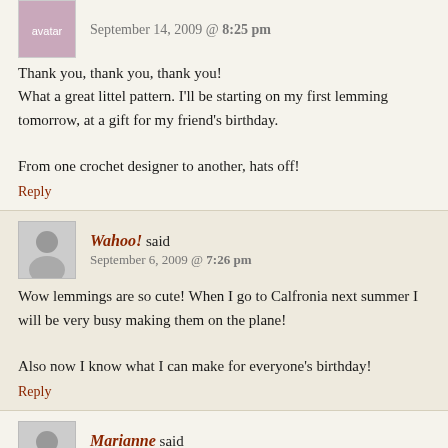September 14, 2009 @ 8:25 pm
Thank you, thank you, thank you!
What a great littel pattern. I'll be starting on my first lemming tomorrow, at a gift for my friend's birthday.

From one crochet designer to another, hats off!
Reply
Wahoo! said
September 6, 2009 @ 7:26 pm
Wow lemmings are so cute! When I go to Calfronia next summer I will be very busy making them on the plane!

Also now I know what I can make for everyone's birthday!
Reply
Marianne said
July 28, 2009 @ 1:39 am
Oh Wow! These are so cute! Thanks so much! I'll try to remember to come back on payday (Friday) and leave you a donation. You are so generous to make this pattern available. Thanks again. 🙂